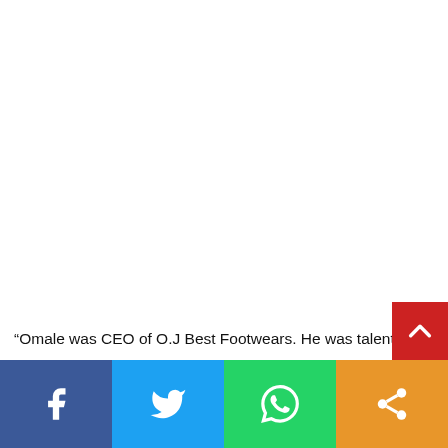“Omale was CEO of O.J Best Footwears. He was talente
[Figure (infographic): Social media share bar with Facebook (blue), Twitter (light blue), WhatsApp (green), and a share button (orange). A red scroll-to-top button with chevron up icon overlaps the top-right of the bar.]